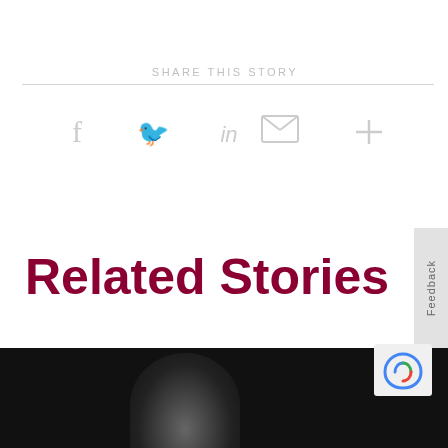SHARE THIS STORY
[Figure (infographic): Social sharing icons: Facebook, Twitter, LinkedIn, Email, More (plus sign), displayed in light gray]
Related Stories
[Figure (photo): Bottom portion showing a person's head silhouette against a dark background, partially cropped]
[Figure (logo): reCAPTCHA or similar logo in bottom right corner on white background]